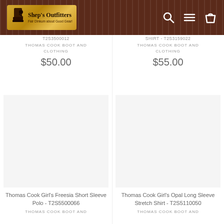Shep's Outfitters - Fair Dinkum about Good Gear!
T2S3500012
THOMAS COOK BOOT AND CLOTHING
$50.00
Shirt - T2S3159022
THOMAS COOK BOOT AND CLOTHING
$55.00
Thomas Cook Girl's Freesia Short Sleeve Polo - T2S5500066
THOMAS COOK BOOT AND
Thomas Cook Girl's Opal Long Sleeve Stretch Shirt - T2S5110050
THOMAS COOK BOOT AND